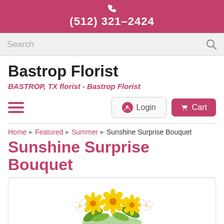(512) 321-2424
Search
Bastrop Florist
BASTROP, TX florist - Bastrop Florist
Login  Cart
Home › Featured › Summer › Sunshine Surprise Bouquet
Sunshine Surprise Bouquet
[Figure (photo): Yellow and white flower bouquet (Sunshine Surprise Bouquet) with daisies and alstroemeria]